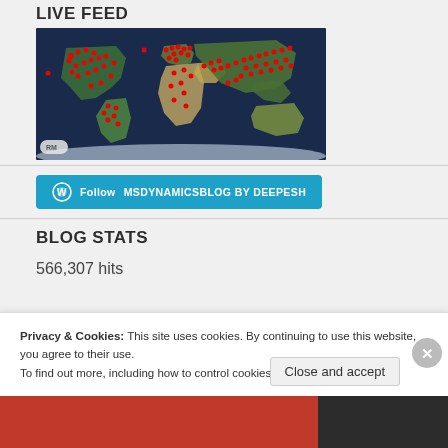LIVE FEED
[Figure (map): World map with red dots indicating live visitor locations, satellite imagery style with dark blue oceans and green/tan landmasses. RM logo in bottom-left corner.]
Follow MSDYNAMICSBLOG BY DEEPESH
BLOG STATS
566,307 hits
Privacy & Cookies: This site uses cookies. By continuing to use this website, you agree to their use.
To find out more, including how to control cookies, see here: Cookie Policy
Close and accept